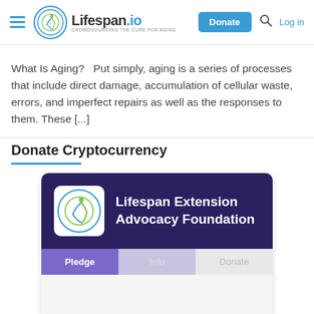Lifespan.io — Donate | Log in
What Is Aging?   Put simply, aging is a series of processes that include direct damage, accumulation of cellular waste, errors, and imperfect repairs as well as the responses to them. These [...]
Donate Cryptocurrency
[Figure (screenshot): Donation widget card for Lifespan Extension Advocacy Foundation with Pledge, Info, and Donate tabs]